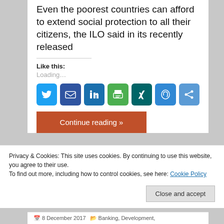Even the poorest countries can afford to extend social protection to all their citizens, the ILO said in its recently released
Like this:
Loading...
[Figure (other): Social sharing buttons: Twitter, Email, LinkedIn, Print, Xing, Mastodon, Share]
Continue reading »
Privacy & Cookies: This site uses cookies. By continuing to use this website, you agree to their use.
To find out more, including how to control cookies, see here: Cookie Policy
Close and accept
8 December 2017   Banking, Development,